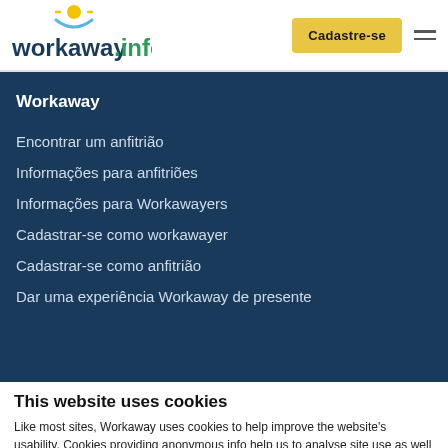[Figure (logo): Workaway.info logo with sun icon above text]
Cadastre-se
Workaway
Encontrar um anfitrião
Informações para anfitriões
Informações para Workawayers
Cadastrar-se como workawayer
Cadastrar-se como anfitrião
Dar uma experiência Workaway de presente
This website uses cookies
Like most sites, Workaway uses cookies to help improve the website's usability. Cookies providing anonymous info help us to analyse site use as well as improve content and present social media features.  You consent to our cookies if you continue to use our website.
OK
Settings